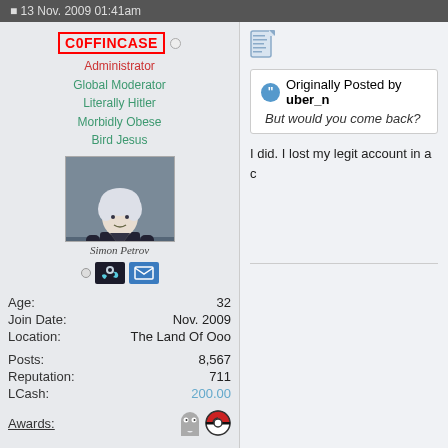13 Nov. 2009 01:41am
C0FFINCASE
Administrator
Global Moderator
Literally Hitler
Morbidly Obese
Bird Jesus
[Figure (illustration): Avatar image of Simon Petrov character - anime-style figure with white hair in dark clothing]
Simon Petrov
| Age: | 32 |
| Join Date: | Nov. 2009 |
| Location: | The Land Of Ooo |
| Posts: | 8,567 |
| Reputation: | 711 |
| LCash: | 200.00 |
Awards:
Originally Posted by uber_n
But would you come back?
I did. I lost my legit account in a c